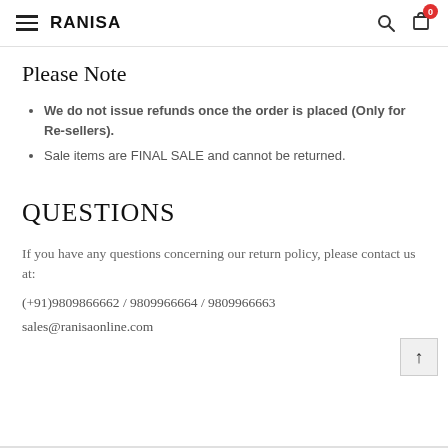RANISA
Please Note
We do not issue refunds once the order is placed (Only for Re-sellers).
Sale items are FINAL SALE and cannot be returned.
QUESTIONS
If you have any questions concerning our return policy, please contact us at:
(+91)9809866662 / 9809966664 / 9809966663
sales@ranisaonline.com